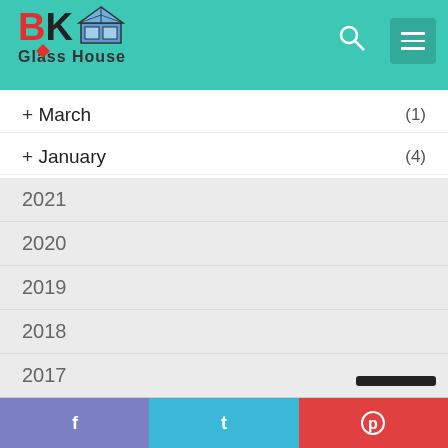BK Glass House
+ March (1)
+ January (4)
2021
2020
2019
2018
2017
2016
2015
2014
f  t  p